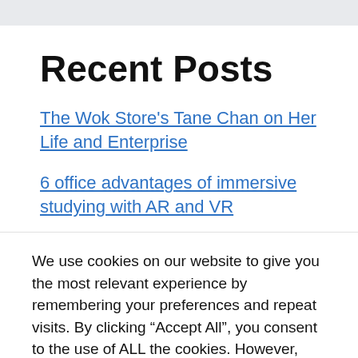Recent Posts
The Wok Store's Tane Chan on Her Life and Enterprise
6 office advantages of immersive studying with AR and VR
6 Methods to Begin the New Yr With a Clean...
We use cookies on our website to give you the most relevant experience by remembering your preferences and repeat visits. By clicking “Accept All”, you consent to the use of ALL the cookies. However, you may visit "Cookie Settings" to provide a controlled consent.
Cookie Settings | Accept All